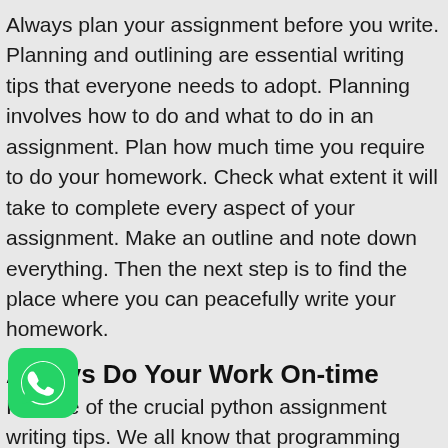Always plan your assignment before you write. Planning and outlining are essential writing tips that everyone needs to adopt. Planning involves how to do and what to do in an assignment. Plan how much time you require to do your homework. Check what extent it will take to complete every aspect of your assignment. Make an outline and note down everything. Then the next step is to find the place where you can peacefully write your homework.
Always Do Your Work On-time
It is one of the crucial python assignment writing tips. We all know that programming assignments take time because we have to deal with so many errors while doing the assignment. Set a particular time to complete your assignment on time. Make sure to do your assignment at the specific time you have set for yourself. Avoid social media and mobile phones while
[Figure (logo): WhatsApp logo icon — green rounded square with white telephone handset]